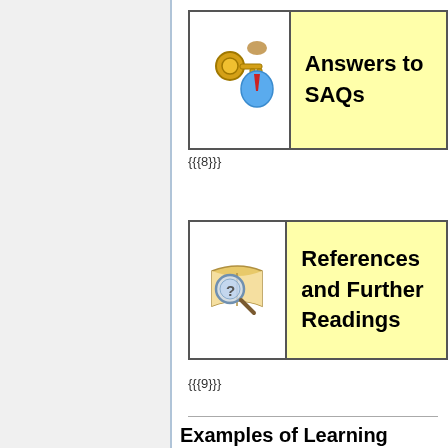[Figure (illustration): Table with key and person icon on left, yellow cell with text 'Answers to SAQs' on right]
{{{8}}}
[Figure (illustration): Table with magnifying glass on book icon on left, yellow cell with text 'References and Further Readings' on right]
{{{9}}}
Examples of Learning